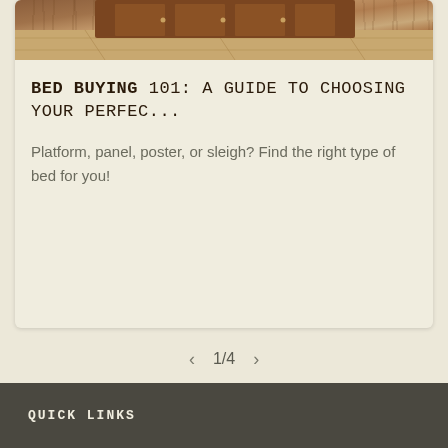[Figure (photo): Wooden furniture on hardwood floor — appears to be a bed frame or cabinet with warm brown tones]
BED BUYING 101: A GUIDE TO CHOOSING YOUR PERFEC...
Platform, panel, poster, or sleigh? Find the right type of bed for you!
1/4
QUICK LINKS